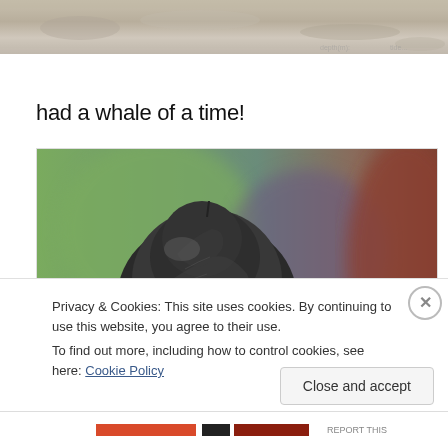[Figure (photo): Top portion of a sandy/rocky surface photo, cropped at top of page]
had a whale of a time!
[Figure (photo): Close-up photo of a dark rocky or organic object (possibly a whale barnacle or rock formation) with blurred colorful background]
Privacy & Cookies: This site uses cookies. By continuing to use this website, you agree to their use.
To find out more, including how to control cookies, see here: Cookie Policy
Close and accept